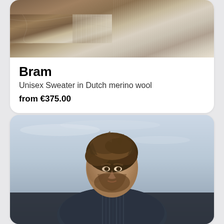[Figure (photo): Top portion of a product card showing fabric/textile detail photo with brownish and cream tones]
Bram
Unisex Sweater in Dutch merino wool
from €375.00
[Figure (photo): Photo of a bearded man with curly brown hair looking upward, wearing a dark navy/charcoal knit turtleneck sweater, photographed against a light grey-blue sky background]